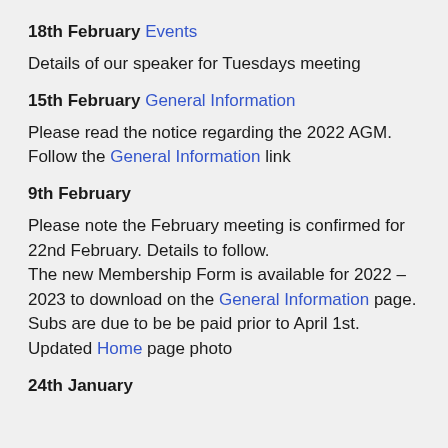18th February Events
Details of our speaker for Tuesdays meeting
15th February General Information
Please read the notice regarding the 2022 AGM. Follow the General Information link
9th February
Please note the February meeting is confirmed for 22nd February. Details to follow.
The new Membership Form is available for 2022 – 2023 to download on the General Information page.
Subs are due to be be paid prior to April 1st.
Updated Home page photo
24th January